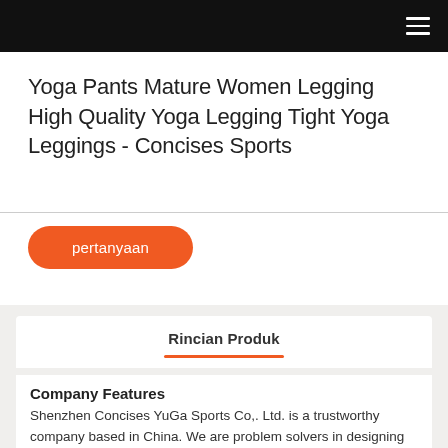Yoga Pants Mature Women Legging High Quality Yoga Legging Tight Yoga Leggings - Concises Sports
pertanyaan
Rincian Produk
Company Features
Shenzhen Concises YuGa Sports Co,. Ltd. is a trustworthy company based in China. We are problem solvers in designing and manufacturing pineapple leggings.